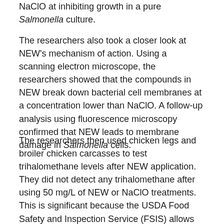NaClO at inhibiting growth in a pure Salmonella culture.
The researchers also took a closer look at NEW's mechanism of action. Using a scanning electron microscope, the researchers showed that the compounds in NEW break down bacterial cell membranes at a concentration lower than NaClO. A follow-up analysis using fluorescence microscopy confirmed that NEW leads to membrane damage in Salmonella cells.
The researchers then used chicken legs and broiler chicken carcasses to test trihalomethane levels after NEW application. They did not detect any trihalomethane after using 50 mg/L of NEW or NaClO treatments. This is significant because the USDA Food Safety and Inspection Service (FSIS) allows NEW doses of less than or equal to 50 mg/L for sanitizing poultry.